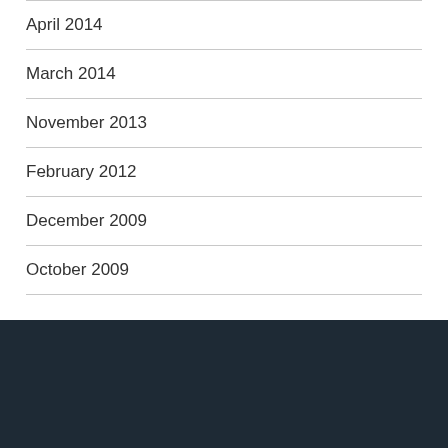April 2014
March 2014
November 2013
February 2012
December 2009
October 2009